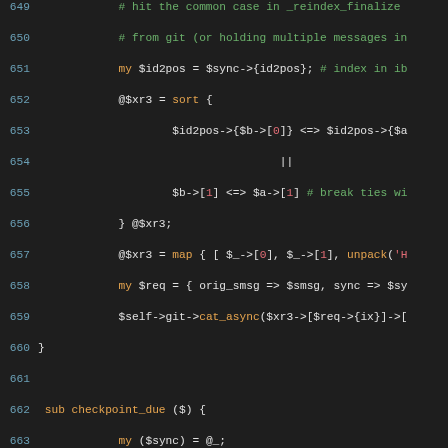[Figure (screenshot): Source code listing in Perl, dark theme editor, lines 649-679, showing subroutines including checkpoint_due and host_ident with syntax highlighting in green, orange, red, and white on dark background.]